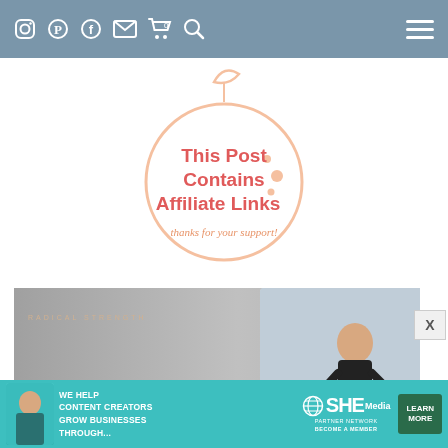Navigation bar with social icons (Instagram, Pinterest, Facebook, Email, Cart 0, Search) and hamburger menu
[Figure (illustration): Orange fruit outline badge with text 'This Post Contains Affiliate Links' in red/salmon and 'thanks for your support!' in orange cursive script]
[Figure (photo): Banner image with text 'RADICAL STRENGTH' and large bold text 'VISIT THE' overlaid on a fitness/gym background with a tablet showing a woman in athletic wear]
[Figure (infographic): SHE Partner Network advertisement banner: 'WE HELP CONTENT CREATORS GROW BUSINESSES THROUGH...' with SHE logo and 'LEARN MORE' button]